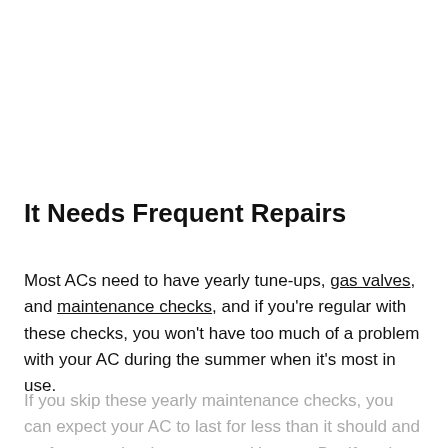It Needs Frequent Repairs
Most ACs need to have yearly tune-ups, gas valves, and maintenance checks, and if you're regular with these checks, you won't have too much of a problem with your AC during the summer when it's most in use.
If you skip these yearly maintenance checks, you can expect your AC to last for less than it should and perform poorly when you need it most. But if you're keeping up with the maintenance